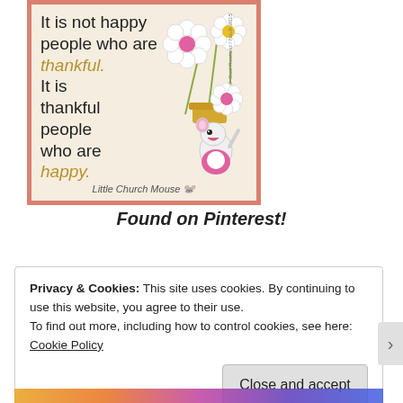[Figure (illustration): Illustrated greeting card image showing a cartoon mouse holding flowers with text: 'It is not happy people who are thankful. It is thankful people who are happy.' Branded 'Little Church Mouse' at bottom. Pink/salmon border, cream background.]
Found on Pinterest!
Privacy & Cookies: This site uses cookies. By continuing to use this website, you agree to their use.
To find out more, including how to control cookies, see here: Cookie Policy
Close and accept